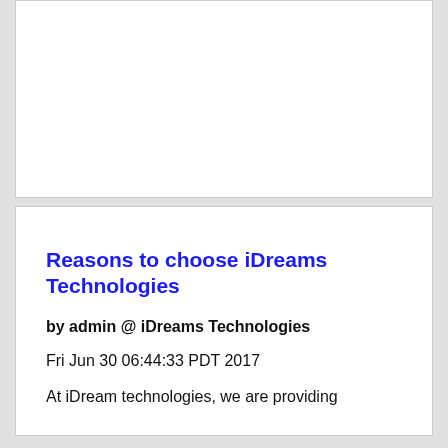[Figure (other): Empty white card/panel area at top of page]
Reasons to choose iDreams Technologies
by admin @ iDreams Technologies
Fri Jun 30 06:44:33 PDT 2017
At iDream technologies, we are providing